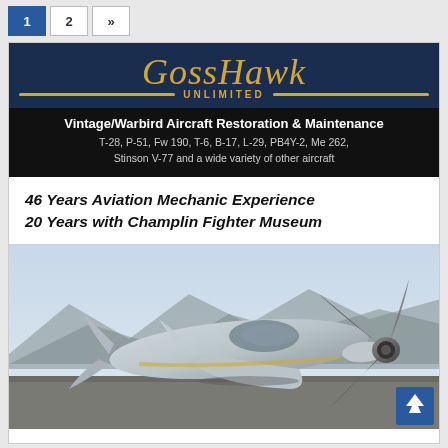1  2  »
[Figure (logo): GossHawk Unlimited logo — stylized script text 'GossHawk' in gold on dark navy background with 'UNLIMITED' in gold below on a swept wing shape]
Vintage/Warbird Aircraft Restoration & Maintenance
T-28, P-51, Fw 190, T-6, B-17, L-29, PB4Y-2, Me 262, Stinson V-77 and a wide variety of other aircraft
46 Years Aviation Mechanic Experience
20 Years with Champlin Fighter Museum
[Figure (photo): Vintage warbird aircraft (silver/chrome finish fighter plane) on a tarmac with mountains in background, propeller visible in foreground]